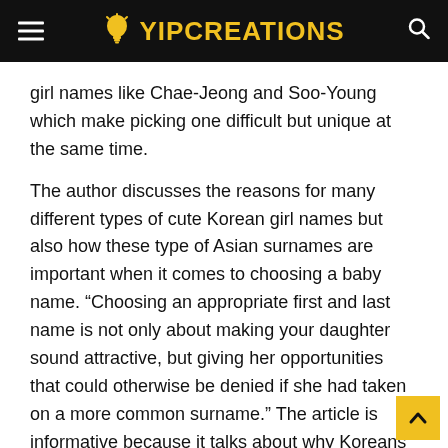YIPCREATIONS
girl names like Chae-Jeong and Soo-Young which make picking one difficult but unique at the same time.
The author discusses the reasons for many different types of cute Korean girl names but also how these type of Asian surnames are important when it comes to choosing a baby name. “Choosing an appropriate first and last name is not only about making your daughter sound attractive, but giving her opportunities that could otherwise be denied if she had taken on a more common surname.” The article is informative because it talks about why Koreans have so many variations of female names while still maintaining tradition with their heritage.
People often wonder what they get out of having such an exotic sounding or peculiar looking name – usually something